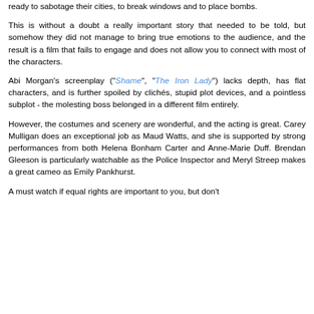ready to sabotage their cities, to break windows and to place bombs.
This is without a doubt a really important story that needed to be told, but somehow they did not manage to bring true emotions to the audience, and the result is a film that fails to engage and does not allow you to connect with most of the characters.
Abi Morgan's screenplay ("Shame", "The Iron Lady") lacks depth, has flat characters, and is further spoiled by clichés, stupid plot devices, and a pointless subplot - the molesting boss belonged in a different film entirely.
However, the costumes and scenery are wonderful, and the acting is great. Carey Mulligan does an exceptional job as Maud Watts, and she is supported by strong performances from both Helena Bonham Carter and Anne-Marie Duff. Brendan Gleeson is particularly watchable as the Police Inspector and Meryl Streep makes a great cameo as Emily Pankhurst.
A must watch if equal rights are important to you, but don't